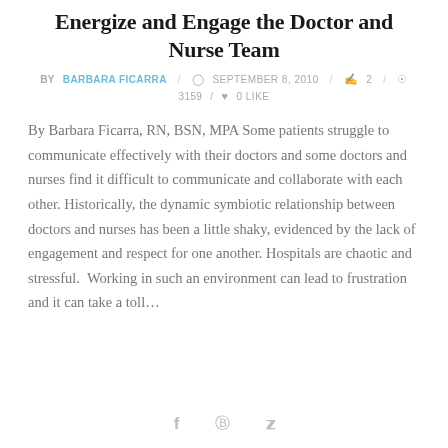Energize and Engage the Doctor and Nurse Team
BY BARBARA FICARRA   SEPTEMBER 8, 2010   2   3159   0 LIKE
By Barbara Ficarra, RN, BSN, MPA Some patients struggle to communicate effectively with their doctors and some doctors and nurses find it difficult to communicate and collaborate with each other. Historically, the dynamic symbiotic relationship between doctors and nurses has been a little shaky, evidenced by the lack of engagement and respect for one another. Hospitals are chaotic and stressful.  Working in such an environment can lead to frustration and it can take a toll…